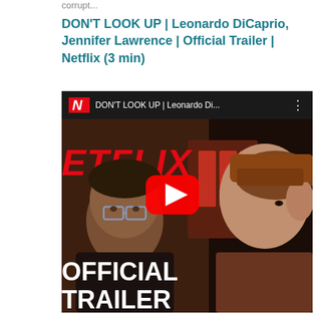corrupt...
DON'T LOOK UP | Leonardo DiCaprio, Jennifer Lawrence | Official Trailer | Netflix (3 min)
[Figure (screenshot): YouTube video thumbnail for DON'T LOOK UP Netflix Official Trailer featuring Leonardo DiCaprio and Jennifer Lawrence. Shows movie scene with two actors, Netflix logo, OFFICIAL TRAILER text overlay, and YouTube play button.]